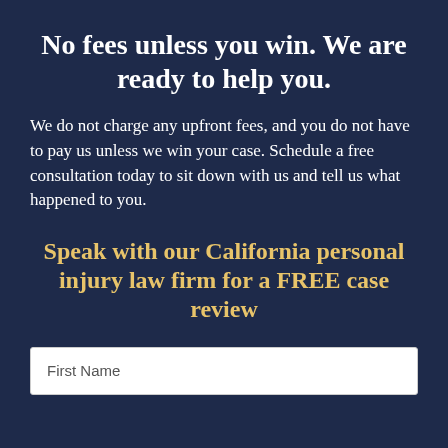No fees unless you win. We are ready to help you.
We do not charge any upfront fees, and you do not have to pay us unless we win your case. Schedule a free consultation today to sit down with us and tell us what happened to you.
Speak with our California personal injury law firm for a FREE case review
First Name